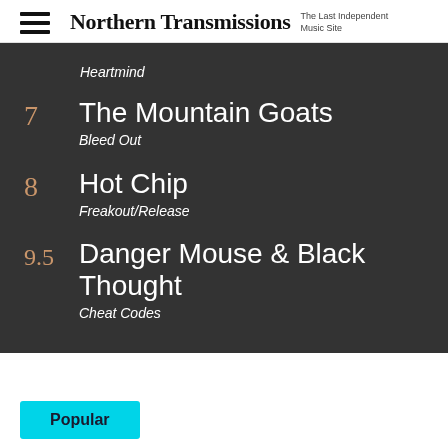Northern Transmissions — The Last Independent Music Site
Heartmind
7 The Mountain Goats Bleed Out
8 Hot Chip Freakout/Release
9.5 Danger Mouse & Black Thought Cheat Codes
Popular